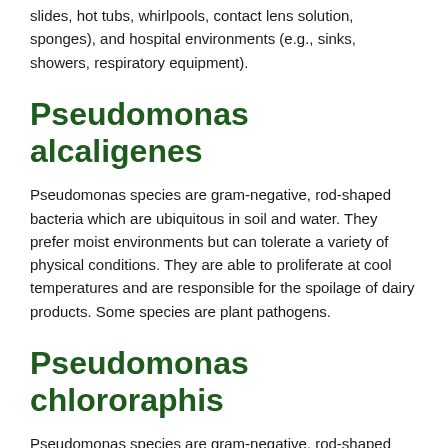slides, hot tubs, whirlpools, contact lens solution, sponges), and hospital environments (e.g., sinks, showers, respiratory equipment).
Pseudomonas alcaligenes
Pseudomonas species are gram-negative, rod-shaped bacteria which are ubiquitous in soil and water. They prefer moist environments but can tolerate a variety of physical conditions. They are able to proliferate at cool temperatures and are responsible for the spoilage of dairy products. Some species are plant pathogens.
Pseudomonas chlororaphis
Pseudomonas species are gram-negative, rod-shaped bacteria which are ubiquitous in soil and